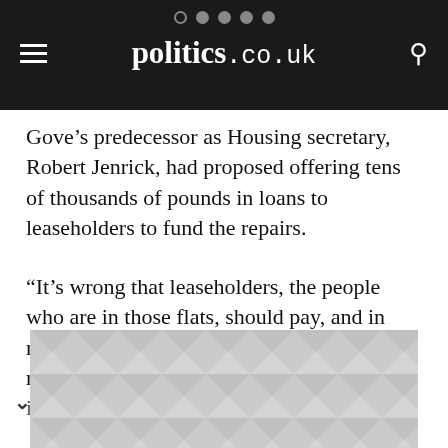politics.co.uk
Gove’s predecessor as Housing secretary, Robert Jenrick, had proposed offering tens of thousands of pounds in loans to leaseholders to fund the repairs.
“It’s wrong that leaseholders, the people who are in those flats, should pay, and in many cases the ms concerned are sums that these poor [individuals have]...
[Figure (other): Advertisement placeholder with geometric triangle pattern in light grey]